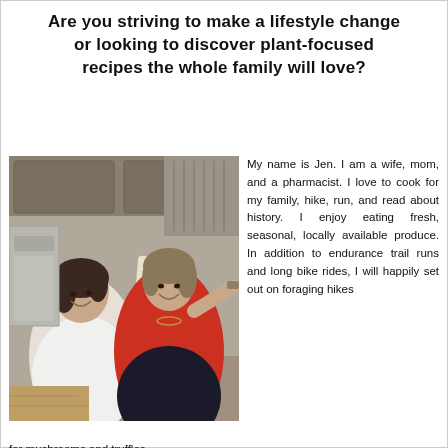Are you striving to make a lifestyle change or looking to discover plant-focused recipes the whole family will love?
[Figure (photo): Two women smiling and working together in a kitchen, using a pasta machine to roll out dough. One woman wears a white top, the other a red top.]
My name is Jen. I am a wife, mom, and a pharmacist. I love to cook for my family, hike, run, and read about history. I enjoy eating fresh, seasonal, locally available produce. In addition to endurance trail runs and long bike rides, I will happily set out on foraging hikes for mushrooms and truffles.